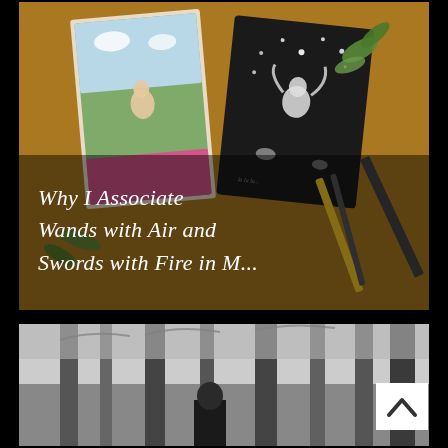[Figure (photo): Top photo: tarot cards and art supplies on a wooden table. A colorful card with a nude figure and a black card with a white figure illustration are visible, along with pencils, brushes, and green leaves. Text overlay reads: 'Why I Associate Wands with Air and Swords with Fire in M...']
Why I Associate Wands with Air and Swords with Fire in M...
[Figure (photo): Bottom photo: black and white image of a person standing among bare trees in a forest or wooded area. A white scroll-to-top button with an upward chevron arrow is overlaid in the bottom-right corner of the image.]